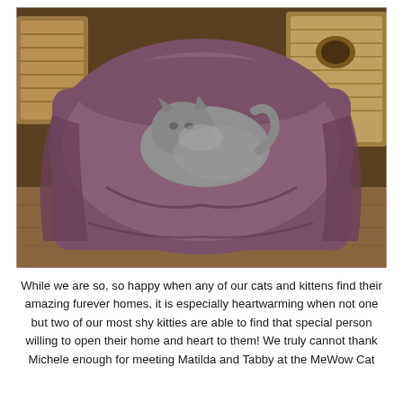[Figure (photo): A gray cat curled up and sleeping on a dark mauve/purple blanket draped over a chair or couch. Wicker baskets are visible in the background on a wooden floor.]
While we are so, so happy when any of our cats and kittens find their amazing furever homes, it is especially heartwarming when not one but two of our most shy kitties are able to find that special person willing to open their home and heart to them! We truly cannot thank Michele enough for meeting Matilda and Tabby at the MeWow Cat